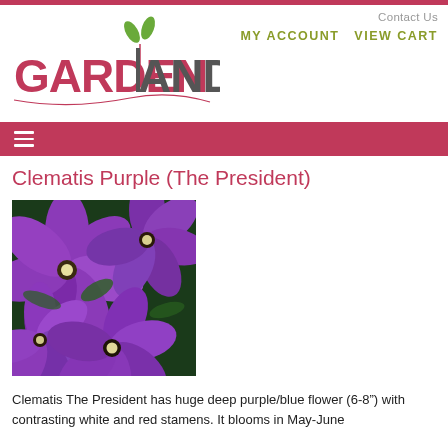Contact Us  MY ACCOUNT  VIEW CART
[Figure (logo): Garden Land logo with green leaf and pink/red stylized text reading GARDEN LAND]
[Figure (other): Navigation bar with hamburger menu icon on pink/red background]
Clematis Purple (The President)
[Figure (photo): Close-up photograph of bright purple Clematis flowers with white and red stamens against green foliage]
Clematis The President has huge deep purple/blue flower (6-8") with contrasting white and red stamens. It blooms in May-June